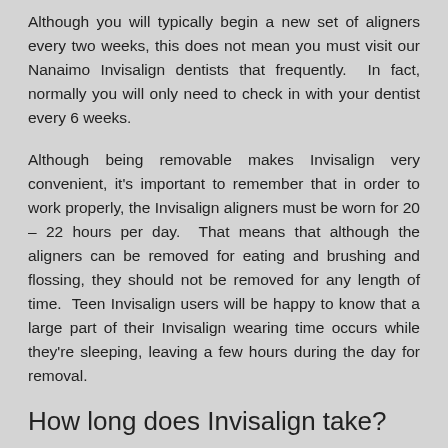Although you will typically begin a new set of aligners every two weeks, this does not mean you must visit our Nanaimo Invisalign dentists that frequently.  In fact, normally you will only need to check in with your dentist every 6 weeks.
Although being removable makes Invisalign very convenient, it's important to remember that in order to work properly, the Invisalign aligners must be worn for 20 – 22 hours per day.  That means that although the aligners can be removed for eating and brushing and flossing, they should not be removed for any length of time.  Teen Invisalign users will be happy to know that a large part of their Invisalign wearing time occurs while they're sleeping, leaving a few hours during the day for removal.
How long does Invisalign take?
While every case is unique for each patient, treatment typically takes approximately a year for adults.  For teens,